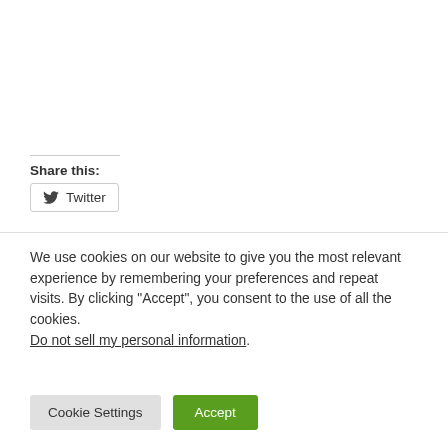Share this:
Twitter
We use cookies on our website to give you the most relevant experience by remembering your preferences and repeat visits. By clicking “Accept”, you consent to the use of all the cookies. Do not sell my personal information.
Cookie Settings
Accept